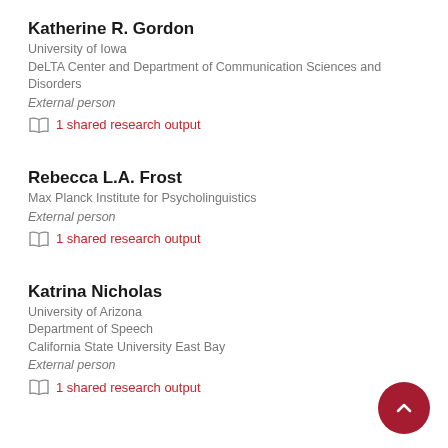Katherine R. Gordon
University of Iowa
DeLTA Center and Department of Communication Sciences and Disorders
External person
1 shared research output
Rebecca L.A. Frost
Max Planck Institute for Psycholinguistics
External person
1 shared research output
Katrina Nicholas
University of Arizona
Department of Speech
California State University East Bay
External person
1 shared research output